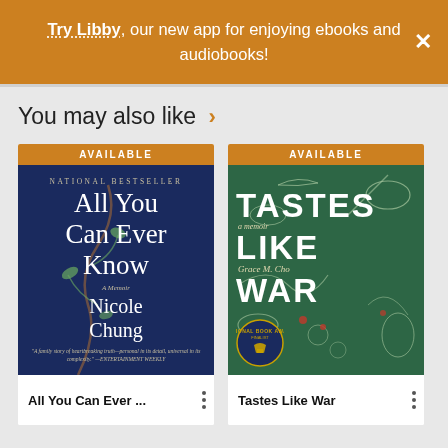Try Libby, our new app for enjoying ebooks and audiobooks!
You may also like >
[Figure (illustration): Book cover: All You Can Ever Know by Nicole Chung. Dark navy background with illustrated vine/branch. Text: NATIONAL BESTSELLER, All You Can Ever Know, A Memoir, Nicole Chung. Quote at bottom from Entertainment Weekly.]
[Figure (illustration): Book cover: Tastes Like War by Grace M. Cho. Green background with illustrated botanical/floral artwork. Text: TASTES, a memoir, LIKE, Grace M. Cho, WAR. National Book Award Finalist badge at bottom left.]
All You Can Ever ...
Tastes Like War